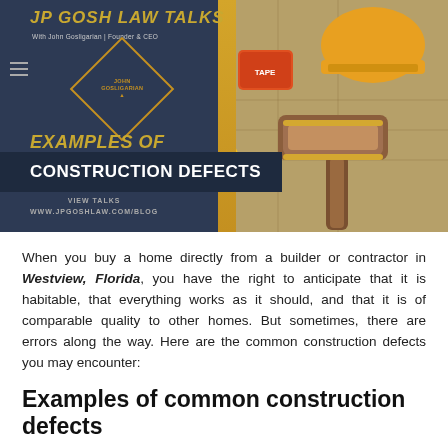[Figure (infographic): JP Gosh Law Talks banner with gold text title, diamond logo with 'John Gosligarian' text, 'Examples of Construction Defects' heading, 'View Talks www.jpgoshlaw.com/blog' footer, and right-side photo of a judge's gavel on construction blueprints with a hard hat and tools.]
When you buy a home directly from a builder or contractor in Westview, Florida, you have the right to anticipate that it is habitable, that everything works as it should, and that it is of comparable quality to other homes. But sometimes, there are errors along the way. Here are the common construction defects you may encounter:
Examples of common construction defects